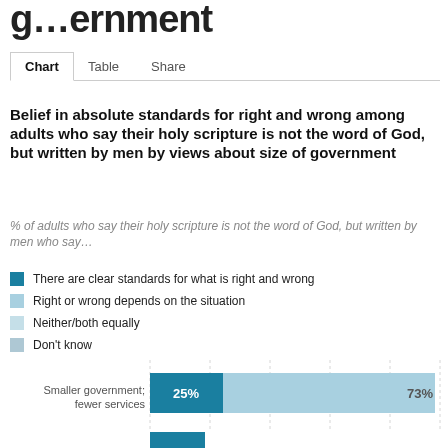g…ernment
Chart | Table | Share
Belief in absolute standards for right and wrong among adults who say their holy scripture is not the word of God, but written by men by views about size of government
% of adults who say their holy scripture is not the word of God, but written by men who say…
There are clear standards for what is right and wrong
Right or wrong depends on the situation
Neither/both equally
Don't know
[Figure (stacked-bar-chart): Belief in absolute standards by size of government views]